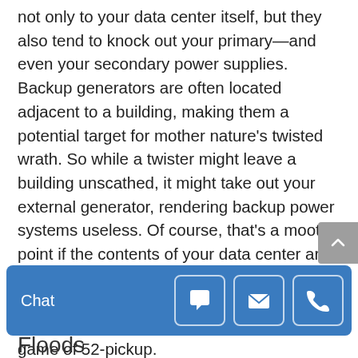not only to your data center itself, but they also tend to knock out your primary—and even your secondary power supplies.  Backup generators are often located adjacent to a building, making them a potential target for mother nature's twisted wrath.  So while a twister might leave a building unscathed, it might take out your external generator, rendering backup power systems useless.  Of course, that's a moot point if the contents of your data center are laid out across the lawn like your laundry, for all to see.  Luckily, a proper data center location can help you avoid an unfortunate game of 52-pickup.
[Figure (screenshot): Blue chat bar with Chat label and three icon buttons (chat bubble, email envelope, phone)]
Floods